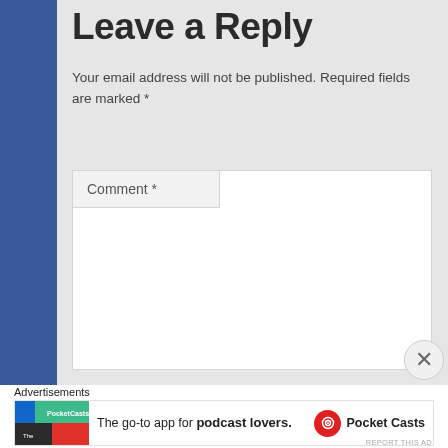Leave a Reply
Your email address will not be published. Required fields are marked *
Comment *
[Figure (screenshot): Comment text area input box, empty, with resize handle at bottom right]
[Figure (infographic): Pocket Casts advertisement banner: colorful icon grid on left, text 'The go-to app for podcast lovers.' in center, Pocket Casts logo on right]
Advertisements
REPORT THIS AD